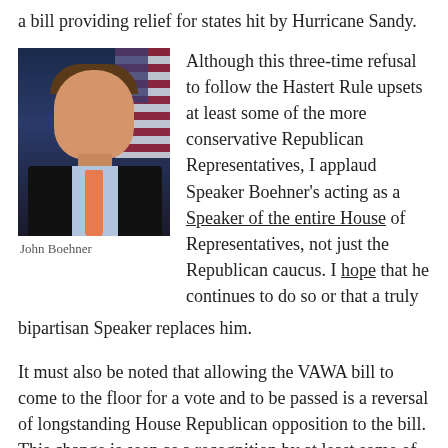a bill providing relief for states hit by Hurricane Sandy.
[Figure (photo): Portrait photo of John Boehner in a dark suit with an American flag in the background]
John Boehner
Although this three-time refusal to follow the Hastert Rule upsets at least some of the more conservative Republican Representatives, I applaud Speaker Boehner's acting as a Speaker of the entire House of Representatives, not just the Republican caucus. I hope that he continues to do so or that a truly bipartisan Speaker replaces him.
It must also be noted that allowing the VAWA bill to come to the floor for a vote and to be passed is a reversal of longstanding House Republican opposition to the bill. This change is seen as a recognition by at least some of the House GOP leadership that the party needed to try to